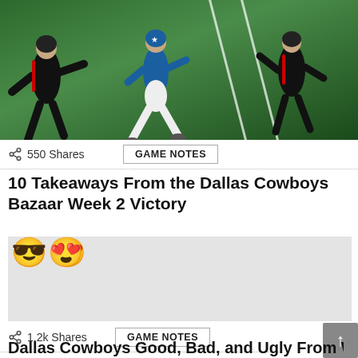[Figure (photo): NFL players on a football field — one player in blue (Dallas Cowboys uniform) running with two defenders in black uniforms on a green field with white yard lines]
550 Shares   GAME NOTES
10 Takeaways From the Dallas Cowboys Bazaar Week 2 Victory
[Figure (illustration): Two emoji reactions: sunglasses face emoji and heart-eyes emoji, followed by a gray advertisement placeholder box]
1.2k Shares   GAME NOTES
Dallas Cowboys Good, Bad, and Ugly From Week 2